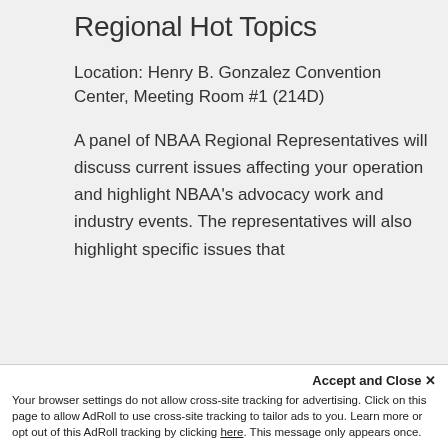Regional Hot Topics
Location: Henry B. Gonzalez Convention Center, Meeting Room #1 (214D)
A panel of NBAA Regional Representatives will discuss current issues affecting your operation and highlight NBAA’s advocacy work and industry events. The representatives will also highlight specific issues that impact their regions.
Accept and Close ×
Your browser settings do not allow cross-site tracking for advertising. Click on this page to allow AdRoll to use cross-site tracking to tailor ads to you. Learn more or opt out of this AdRoll tracking by clicking here. This message only appears once.